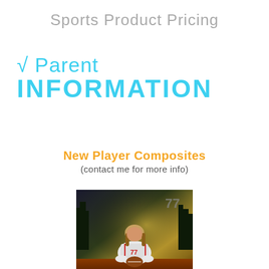Sports Product Pricing
√ Parent INFORMATION
New Player Composites
(contact me for more info)
[Figure (photo): Football player wearing number 77 jersey holding a football, composite sports photo with dramatic lighting and forest/field background]